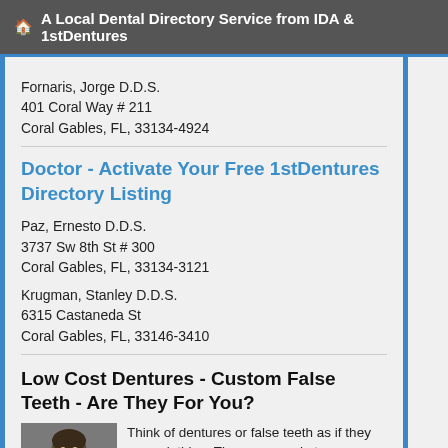A Local Dental Directory Service from IDA & 1stDentures
Fornaris, Jorge D.D.S.
401 Coral Way # 211
Coral Gables, FL, 33134-4924
Doctor - Activate Your Free 1stDentures Directory Listing
Paz, Ernesto D.D.S.
3737 Sw 8th St # 300
Coral Gables, FL, 33134-3121
Krugman, Stanley D.D.S.
6315 Castaneda St
Coral Gables, FL, 33146-3410
Low Cost Dentures - Custom False Teeth - Are They For You?
[Figure (photo): Portrait photo of a person, partially cropped]
Think of dentures or false teeth as if they were clothing. There are ready-to-wear low-